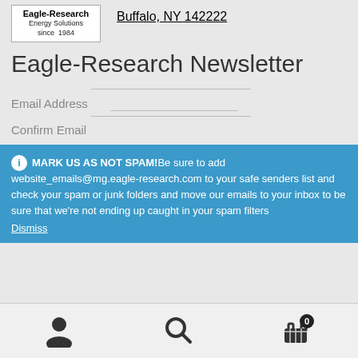[Figure (logo): Eagle-Research Energy Solutions since 1984 logo box]
Buffalo, NY 142222
Eagle-Research Newsletter
Email Address
Confirm Email
ⓘ MARK US AS NOT SPAM! Be sure to add website_emails@mg.eagle-research.com to your safe senders list and check your spam or junk folders and move our emails to your inbox to be sure that we're not ending up caught in your spam filters
Dismiss
[Figure (infographic): Bottom toolbar with user icon, search icon, and cart icon with badge showing 0]